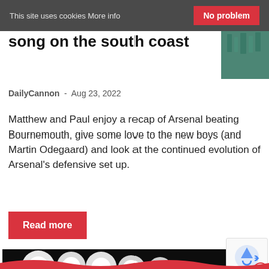This site uses cookies More info   No problem
song on the south coast
DailyCannon  -  Aug 23, 2022
Matthew and Paul enjoy a recap of Arsenal beating Bournemouth, give some love to the new boys (and Martin Odegaard) and look at the continued evolution of Arsenal's defensive set up.
Read more
[Figure (photo): Dark photo showing stadium floodlights with a person's head silhouette visible at the bottom]